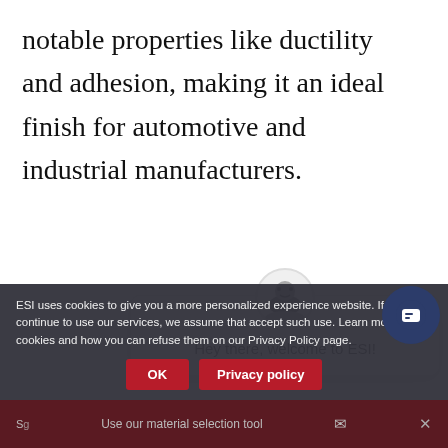notable properties like ductility and adhesion, making it an ideal finish for automotive and industrial manufacturers.
[Figure (screenshot): Chat widget popup with avatar icon showing 'Hey there, welcome to ESI!' message and a close button]
Step 2: Analyze Pricing
Pricing is a significant factor in the finishing selection process. The level of
[Figure (screenshot): Cookie consent banner with text and OK / Privacy policy buttons, plus chat button and page footer bar with 'Use our material selection tool' text]
Use our material selection tool